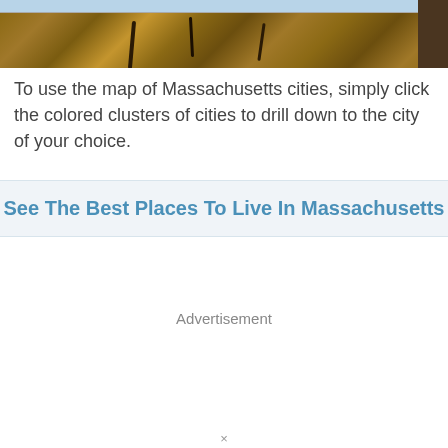[Figure (screenshot): Top portion of a webpage showing a map/satellite image of Massachusetts with a wooden deck or boardwalk visible, and a navigation bar at the very top]
To use the map of Massachusetts cities, simply click the colored clusters of cities to drill down to the city of your choice.
See The Best Places To Live In Massachusetts
Advertisement